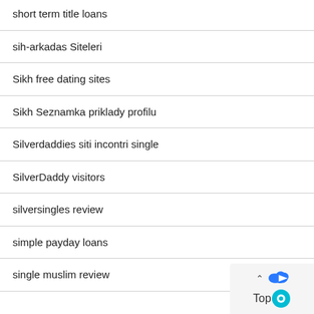short term title loans
sih-arkadas Siteleri
Sikh free dating sites
Sikh Seznamka priklady profilu
Silverdaddies siti incontri single
SilverDaddy visitors
silversingles review
simple payday loans
single muslim review